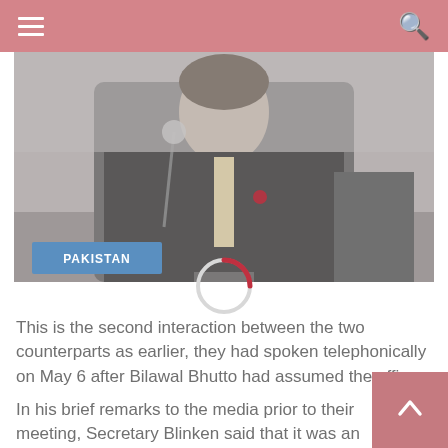Navigation header with hamburger menu and search icon
[Figure (photo): A man in a dark suit sitting at a conference table with a microphone, with a Pakistan nameplate visible in the foreground. The image appears to be from a UN or diplomatic setting.]
This is the second interaction between the two counterparts as earlier, they had spoken telephonically on May 6 after Bilawal Bhutto had assumed the office.
In his brief remarks to the media prior to their meeting, Secretary Blinken said that it was an important opportunity for them to talk about many issues they were working on together.